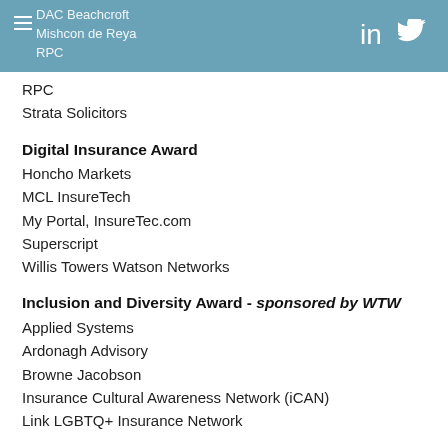DAC Beachcroft
Mishcon de Reya
RPC
RPC
Strata Solicitors
Digital Insurance Award
Honcho Markets
MCL InsureTech
My Portal, InsureTec.com
Superscript
Willis Towers Watson Networks
Inclusion and Diversity Award - sponsored by WTW
Applied Systems
Ardonagh Advisory
Browne Jacobson
Insurance Cultural Awareness Network (iCAN)
Link LGBTQ+ Insurance Network
Loss Adjusting Award
Judges Choice Award – Announced on the evening